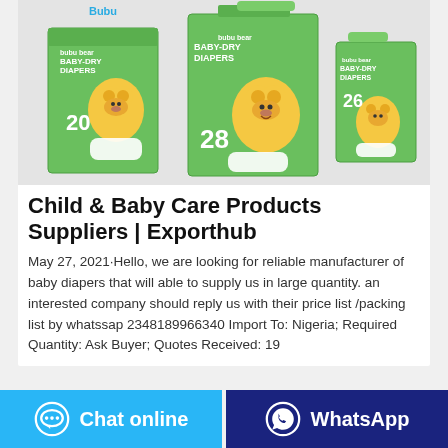[Figure (photo): Three packages of bubu bear Baby-Dry Diapers in green packaging with a cute yellow bear character, showing counts of 20, 28, and 26 diapers]
Child & Baby Care Products Suppliers | Exporthub
May 27, 2021·Hello, we are looking for reliable manufacturer of baby diapers that will able to supply us in large quantity. an interested company should reply us with their price list /packing list by whatssap 2348189966340 Import To: Nigeria; Required Quantity: Ask Buyer; Quotes Received: 19
Chat online
WhatsApp